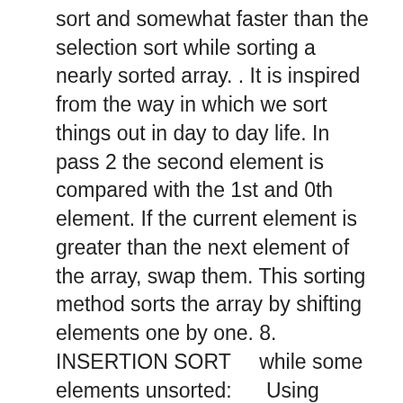sort and somewhat faster than the selection sort while sorting a nearly sorted array. . It is inspired from the way in which we sort things out in day to day life. In pass 2 the second element is compared with the 1st and 0th element. If the current element is greater than the next element of the array, swap them. This sorting method sorts the array by shifting elements one by one. 8. INSERTION SORT    while some elements unsorted:      Using linear search, find the location in the sorted portion where the 1st element of the unsorted portion should be inserted      Move all the elements after the insertion location up one position to make space for the new element. But insertion sort does not exchange elements. Insertion sort has one of the simplest implementation. Quick Sort Algorithm- Consider-a = Linear Array in memory; beg = Lower bound of the sub array in question; end = Upper bound of the sub